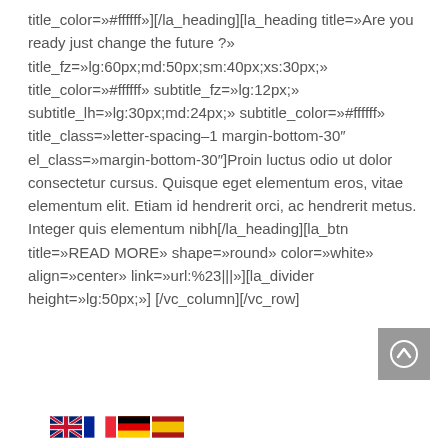title_color=»#ffffff»][/la_heading][la_heading title=»Are you ready just change the future ?» title_fz=»lg:60px;md:50px;sm:40px;xs:30px;» title_color=»#ffffff» subtitle_fz=»lg:12px;» subtitle_lh=»lg:30px;md:24px;» subtitle_color=»#ffffff» title_class=»letter-spacing–1 margin-bottom-30″ el_class=»margin-bottom-30″]Proin luctus odio ut dolor consectetur cursus. Quisque eget elementum eros, vitae elementum elit. Etiam id hendrerit orci, ac hendrerit metus. Integer quis elementum nibh[/la_heading][la_btn title=»READ MORE» shape=»round» color=»white» align=»center» link=»url:%23|||»][la_divider height=»lg:50px;»] [/vc_column][/vc_row]
[Figure (other): Flags: UK, France, Germany, Spain]